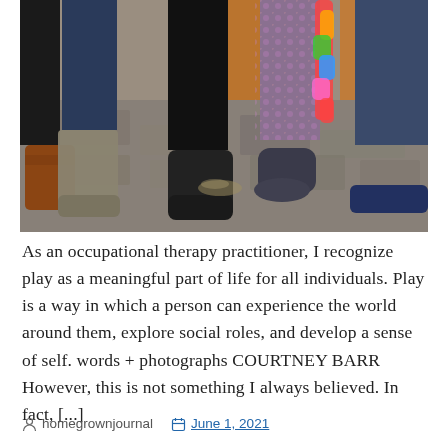[Figure (photo): Photo showing the lower halves of several people standing together, showing various shoes and boots. Background includes orange fabric and stone floor. One person holds colorful feather boa.]
As an occupational therapy practitioner, I recognize play as a meaningful part of life for all individuals. Play is a way in which a person can experience the world around them, explore social roles, and develop a sense of self. words + photographs COURTNEY BARR However, this is not something I always believed. In fact, [...]
homegrownjournal   June 1, 2021